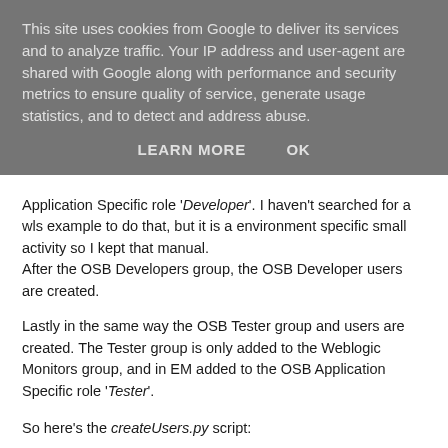This site uses cookies from Google to deliver its services and to analyze traffic. Your IP address and user-agent are shared with Google along with performance and security metrics to ensure quality of service, generate usage statistics, and to detect and address abuse.
LEARN MORE    OK
Application Specific role 'Developer'. I haven't searched for a wls example to do that, but it is a environment specific small activity so I kept that manual.
After the OSB Developers group, the OSB Developer users are created.
Lastly in the same way the OSB Tester group and users are created. The Tester group is only added to the Weblogic Monitors group, and in EM added to the OSB Application Specific role 'Tester'.
So here's the createUsers.py script:
##########################################################
# Create WebLogic Users and groups